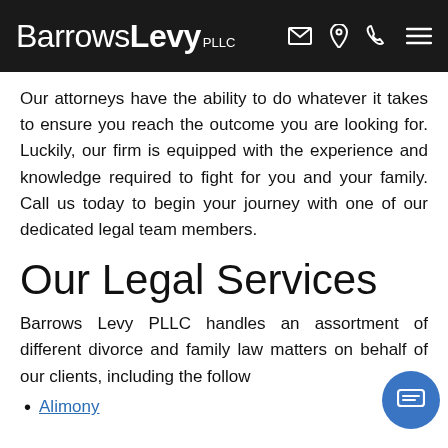BarrowsLevy PLLC
Our attorneys have the ability to do whatever it takes to ensure you reach the outcome you are looking for. Luckily, our firm is equipped with the experience and knowledge required to fight for you and your family. Call us today to begin your journey with one of our dedicated legal team members.
Our Legal Services
Barrows Levy PLLC handles an assortment of different divorce and family law matters on behalf of our clients, including the follow
Alimony